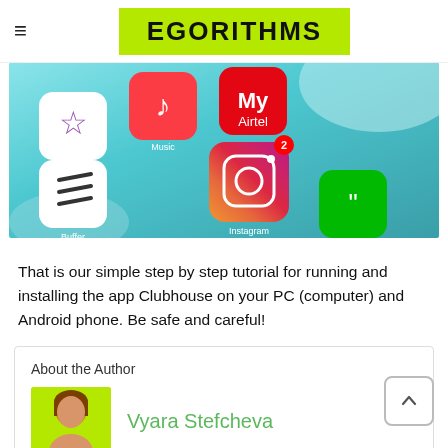EGORITHMS
[Figure (photo): Close-up of a smartphone screen showing various app icons including Day Star, Music, My Airtel, Buffer, Instagram (with badge showing 2), and a green messaging app, all on a teal/blue background.]
That is our simple step by step tutorial for running and installing the app Clubhouse on your PC (computer) and Android phone. Be safe and careful!
About the Author
[Figure (photo): Author avatar photo of Vyara Stefcheva on a green background, showing a woman with brown hair.]
Vyara Stefcheva